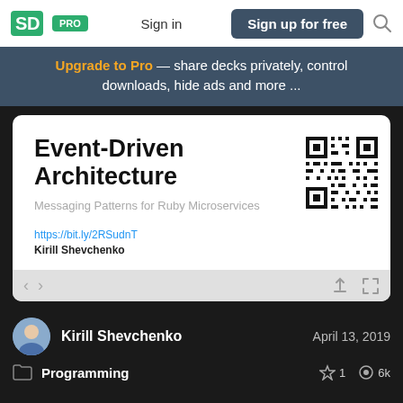SpeakerDeck — PRO | Sign in | Sign up for free
Upgrade to Pro — share decks privately, control downloads, hide ads and more ...
[Figure (screenshot): Slide preview card for 'Event-Driven Architecture: Messaging Patterns for Ruby Microservices' by Kirill Shevchenko, with a QR code and URL https://bit.ly/2RSudnT]
Kirill Shevchenko
April 13, 2019
Programming